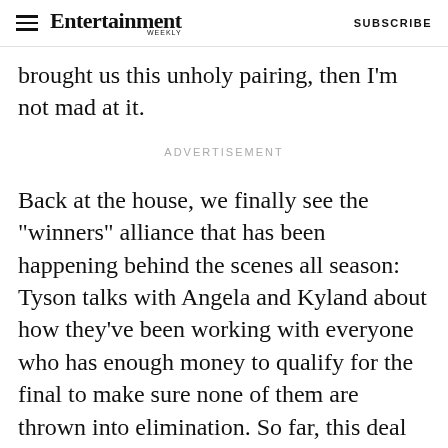Entertainment Weekly — SUBSCRIBE
brought us this unholy pairing, then I'm not mad at it.
ADVERTISEMENT
Back at the house, we finally see the "winners" alliance that has been happening behind the scenes all season: Tyson talks with Angela and Kyland about how they've been working with everyone who has enough money to qualify for the final to make sure none of them are thrown into elimination. So far, this deal has kept them all safe, and it also explains why, after winning a daily challenge, no one with power has taken any "big"